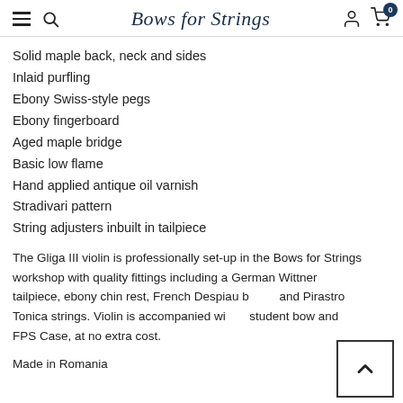Bows for Strings
Solid maple back, neck and sides
Inlaid purfling
Ebony Swiss-style pegs
Ebony fingerboard
Aged maple bridge
Basic low flame
Hand applied antique oil varnish
Stradivari pattern
String adjusters inbuilt in tailpiece
The Gliga III violin is professionally set-up in the Bows for Strings workshop with quality fittings including a German Wittner tailpiece, ebony chin rest, French Despiau bridge and Pirastro Tonica strings. Violin is accompanied with a student bow and FPS Case, at no extra cost.
Made in Romania